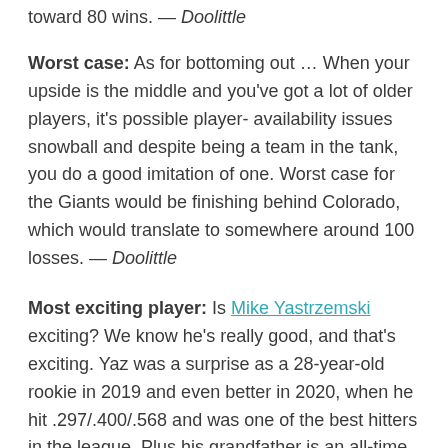toward 80 wins. — Doolittle
Worst case: As for bottoming out … When your upside is the middle and you've got a lot of older players, it's possible player- availability issues snowball and despite being a team in the tank, you do a good imitation of one. Worst case for the Giants would be finishing behind Colorado, which would translate to somewhere around 100 losses. — Doolittle
Most exciting player: Is Mike Yastrzemski exciting? We know he's really good, and that's exciting. Yaz was a surprise as a 28-year-old rookie in 2019 and even better in 2020, when he hit .297/.400/.568 and was one of the best hitters in the league. Plus his grandfather is an all-time great, so that's pretty fun. — Schoenfield